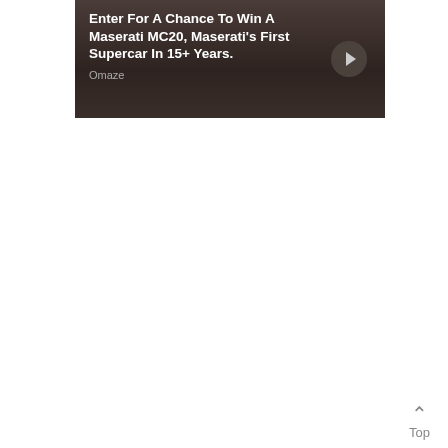[Figure (screenshot): Advertisement banner with dark brown background showing text 'Enter For A Chance To Win A Maserati MC20, Maserati's First Supercar In 15+ Years.' with source label 'Omaze' and a right-arrow navigation button]
Top